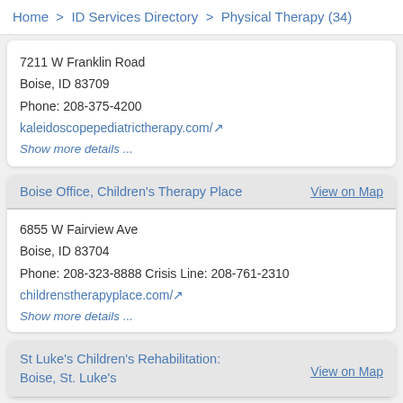Home > ID Services Directory > Physical Therapy (34)
7211 W Franklin Road
Boise, ID 83709
Phone: 208-375-4200
kaleidoscopepediatrictherapy.com/
Show more details ...
Boise Office, Children's Therapy Place    View on Map
6855 W Fairview Ave
Boise, ID 83704
Phone: 208-323-8888 Crisis Line: 208-761-2310
childrenstherapyplace.com/
Show more details ...
St Luke's Children's Rehabilitation:
Boise, St. Luke's    View on Map